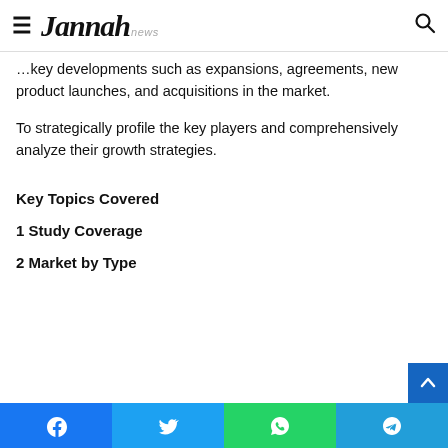Jannah news
…key developments such as expansions, agreements, new product launches, and acquisitions in the market.
To strategically profile the key players and comprehensively analyze their growth strategies.
Key Topics Covered
1 Study Coverage
2 Market by Type